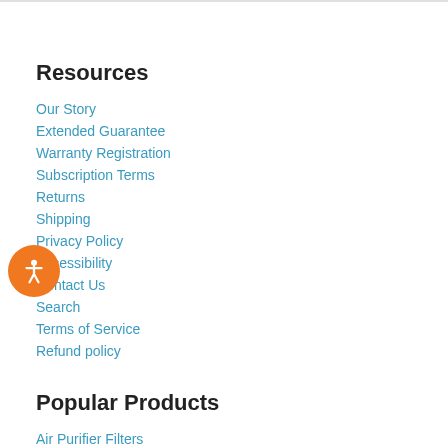Resources
Our Story
Extended Guarantee
Warranty Registration
Subscription Terms
Returns
Shipping
Privacy Policy
Accessibility
Contact Us
Search
Terms of Service
Refund policy
Popular Products
Air Purifier Filters